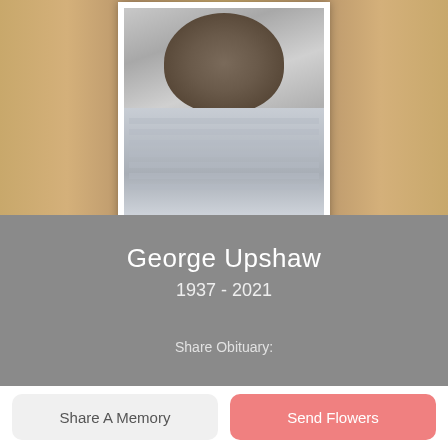[Figure (photo): Portrait photo of George Upshaw, showing an elderly man in a striped collared shirt, set against a warm golden bokeh background]
George Upshaw
1937 - 2021
Share Obituary:
Share A Memory
Send Flowers
Plant A Tree